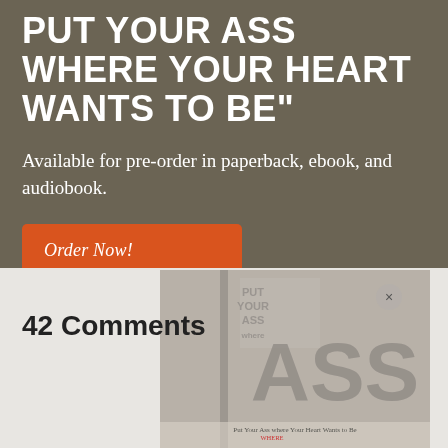PUT YOUR ASS WHERE YOUR HEART WANTS TO BE"
Available for pre-order in paperback, ebook, and audiobook.
Order Now!
[Figure (photo): Book cover of 'Put Your Ass Where Your Heart Wants to Be' shown as a popup overlay with a close button (×). The book cover features large bold text with 'ASS' prominently displayed and subtitle text visible at the bottom.]
42 Comments